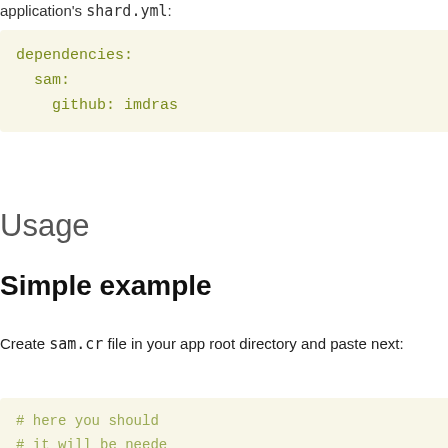application's shard.yml:
dependencies:
  sam:
    github: imdras
Usage
Simple example
Create sam.cr file in your app root directory and paste next:
# here you should
# it will be neede
moranibaca@g...
Dependencies
0
Development Dependencies
0
Dependents
9
jennifer (2 dependents)
digests (1 dependents)
jennifer_sqlite3_adap... (1 dependents)